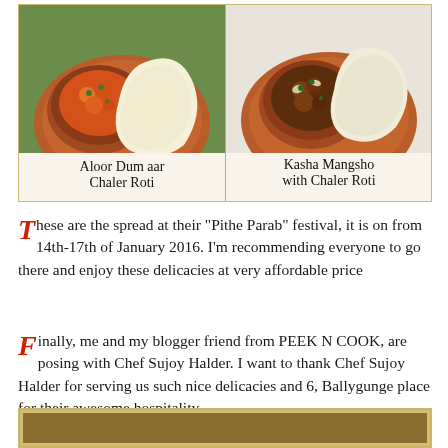[Figure (photo): Two food photos side by side: left shows Aloor Dum aar Chaler Roti (potato curry in terracotta bowl with flatbread on terracotta plate), right shows Kasha Mangsho with Chaler Roti (spiced mutton in terracotta bowl with flatbread on terracotta plate). Both have labels overlaid on the lower portion of each photo.]
These are the spread at their "Pithe Parab" festival, it is on from 14th-17th of January 2016. I'm recommending everyone to go there and enjoy these delicacies at very affordable price
Finally, me and my blogger friend from PEEK N COOK, are posing with Chef Sujoy Halder. I want to thank Chef Sujoy Halder for serving us such nice delicacies and 6, Ballygunge place for their awesome hospitality.
[Figure (photo): Partial view of a photo at the bottom of the page, cut off]